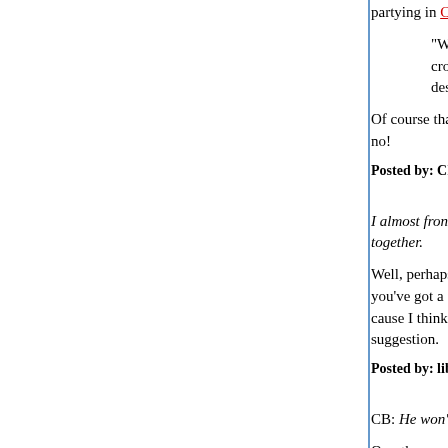partying in Caracas, and Cindy Sheehan is a gue...
"We need to bring our troops home immed... crowd. "We need to hold someone respons... destruction in the world."
Of course that special someone is George W. Bus... no!
Posted by: Charles Bird | January 25, 2006 at 12:32 AM
I almost front-paged this, LJ, but I've got other stu... together.
Well, perhaps a marker saying that it is in the wor... you've got a front page post on Venezuela in the p... cause I think getting back to Iran and discussion o... suggestion.
Posted by: liberal japonicus | January 25, 2006 at 02:05 AM
CB: He won't call himself a Marxist or communist...
Overthrown and murdered by a CIA-backed coup...